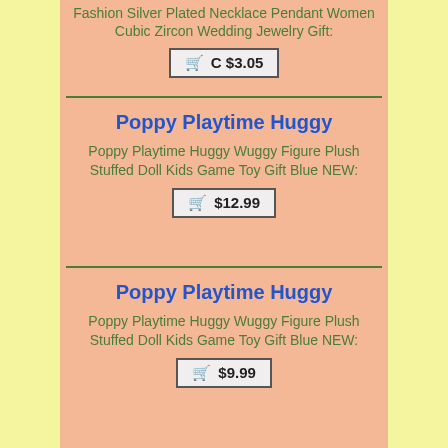Fashion Silver Plated Necklace Pendant Women Cubic Zircon Wedding Jewelry Gift:
C $3.05
Poppy Playtime Huggy
Poppy Playtime Huggy Wuggy Figure Plush Stuffed Doll Kids Game Toy Gift Blue NEW:
$12.99
Poppy Playtime Huggy
Poppy Playtime Huggy Wuggy Figure Plush Stuffed Doll Kids Game Toy Gift Blue NEW:
$9.99